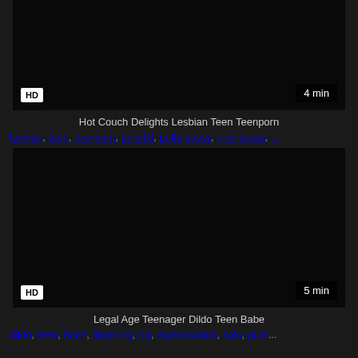[Figure (screenshot): Dark video thumbnail with HD badge and 4 min duration label]
Hot Couch Delights Lesbian Teen Teenporn
lesbian, teen, teenporn, pure18, puffy pussy, nice pussy, ...
[Figure (screenshot): Dark video thumbnail with HD badge and 5 min duration label]
Legal Age Teenager Dildo Teen Babe
dildo, teen, babe, fingering, toy, masturbation, solo, pure...